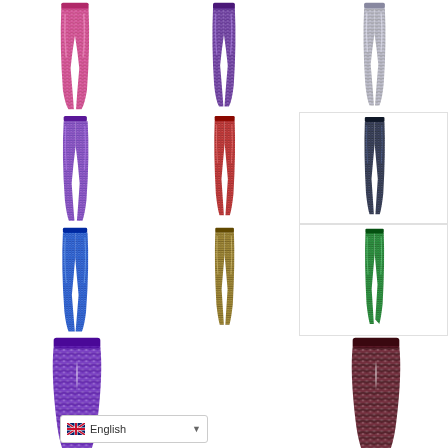[Figure (photo): Pink/magenta mermaid scale leggings, full length, front view on white background]
[Figure (photo): Purple mermaid scale leggings, full length, front view on white background]
[Figure (photo): Silver/grey mermaid scale leggings, full length, front view on white background]
[Figure (photo): Purple mermaid scale leggings, full length, front view on white background]
[Figure (photo): Red mermaid scale leggings, full length, front view on white background]
[Figure (photo): Dark navy/black mermaid scale leggings, full length, front view on white background, with border]
[Figure (photo): Blue mermaid scale leggings, full length, front view on white background]
[Figure (photo): Gold/olive mermaid scale leggings, full length, front view on white background]
[Figure (photo): Green mermaid scale leggings, full length, front view on white background, with border]
[Figure (photo): Purple mermaid scale leggings, partially visible (bottom half cut off) on white background]
[Figure (photo): Dark burgundy/brown mermaid scale leggings, partially visible on white background]
English